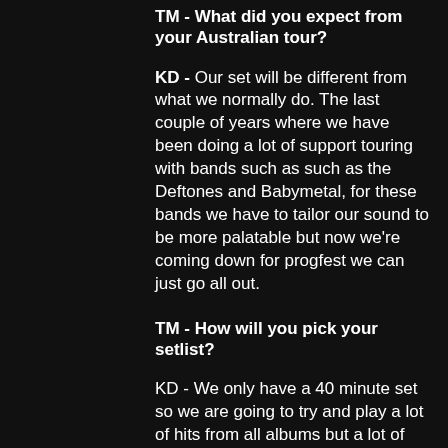TM - What did you expect from your Australian tour?
KD - Our set will be different from what we normally do. The last couple of years where we have been doing a lot of support touring with bands such as such as the Deftones and Babymetal, for these bands we have to tailor our sound to be more palatable but now we're coming down for progfest we can just go all out.
TM - How will you pick your setlist?
KD - We only have a 40 minute set so we are going to try and play a lot of hits from all albums but a lot of hits from the new album as well.